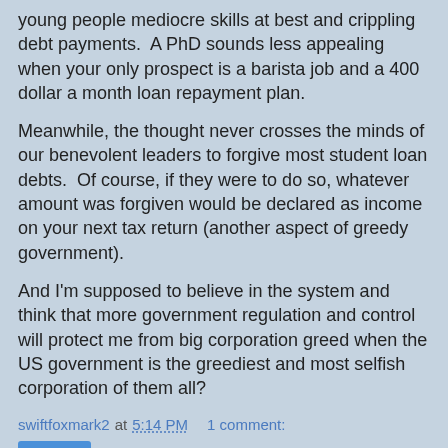young people mediocre skills at best and crippling debt payments.  A PhD sounds less appealing when your only prospect is a barista job and a 400 dollar a month loan repayment plan.
Meanwhile, the thought never crosses the minds of our benevolent leaders to forgive most student loan debts.  Of course, if they were to do so, whatever amount was forgiven would be declared as income on your next tax return (another aspect of greedy government).
And I'm supposed to believe in the system and think that more government regulation and control will protect me from big corporation greed when the US government is the greediest and most selfish corporation of them all?
swiftfoxmark2 at 5:14 PM    1 comment:
Share
Sunday, May 19, 2013